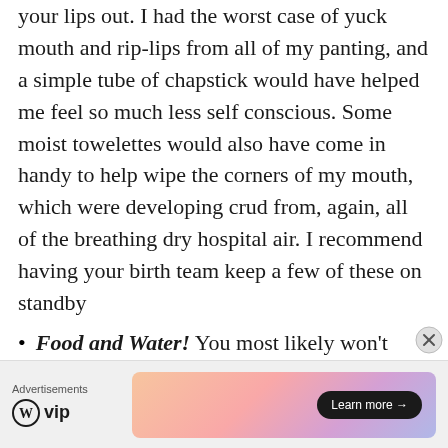your lips out. I had the worst case of yuck mouth and rip-lips from all of my panting, and a simple tube of chapstick would have helped me feel so much less self conscious. Some moist towelettes would also have come in handy to help wipe the corners of my mouth, which were developing crud from, again, all of the breathing dry hospital air. I recommend having your birth team keep a few of these on standby
Food and Water! You most likely won't want to, but definitely eat something to give yourself strength for labor! You might throw it up, as some women get nauseous from pain or from the physical strain of pushing, but not eating won't do you any favors
Advertisements  WordPress VIP  Learn more →